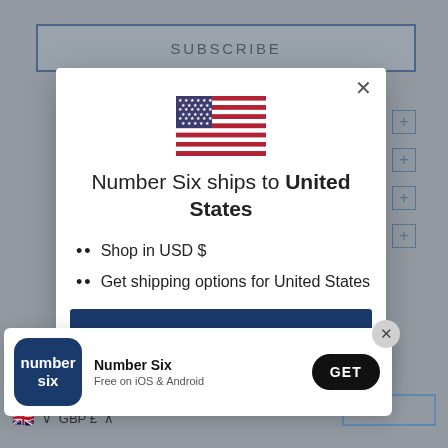SUBSCRIBE
[Figure (screenshot): Modal dialog showing US flag, text 'Number Six ships to United States', bullet points for USD shopping and shipping options, and a 'Shop now' button on a dark navy background. An app install banner is shown at the bottom with the Number Six logo, app name, and GET button.]
Number Six ships to United States
Shop in USD $
Get shipping options for United States
Shop now
Number Six
Free on iOS & Android
GET
GBP £